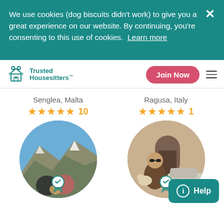We use cookies (dog biscuits didn't work) to give you a great experience on our website. By continuing, you're consenting to this use of cookies. Learn more
[Figure (logo): Trusted Housesitters logo with teal house and people icon]
Join Now
Senglea, Malta
★★★★★ 10
Ragusa, Italy
★★★★★ 1
[Figure (photo): Circular profile photo of two people with a dog in a mountain landscape]
[Figure (photo): Circular profile photo of a person in sunglasses with a dog and vintage car in background]
Help